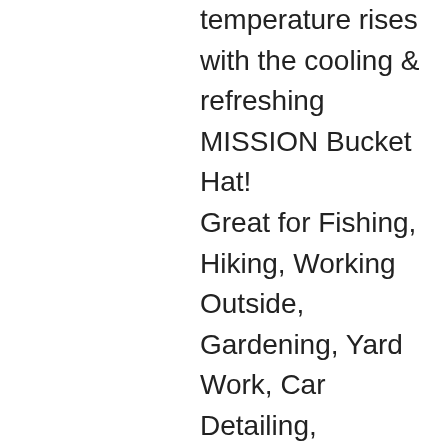temperature rises with the cooling & refreshing MISSION Bucket Hat! Great for Fishing, Hiking, Working Outside, Gardening, Yard Work, Car Detailing, Concerts, Festivals, BBQ, Tailgating, Vacations, the Beach, Lake, Pool, or anytime you want to feel instantly cooler.
SUN PROTECTION A 3' brim and UPF 50 fabric offers excellent sun protection for the face, ears, and neck.
COOLING BUCKET HAT The bucket hat is reusable and machine washable with cooling fabric…